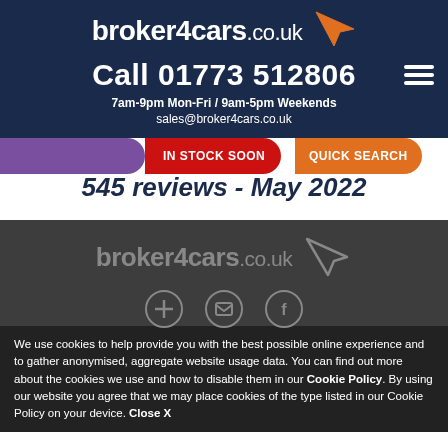broker4cars.co.uk
Call 01773 512806
7am-9pm Mon-Fri / 9am-5pm Weekends
sales@broker4cars.co.uk
IN STOCK SOON
QUICK SEARCH
545 reviews - May 2022
[Figure (logo): broker4cars.co.uk logo with cursor arrow icon in grey on dark background]
[Figure (other): Three circular social media/contact icons partially visible]
We use cookies to help provide you with the best possible online experience and to gather anonymised, aggregate website usage data. You can find out more about the cookies we use and how to disable them in our Cookie Policy. By using our website you agree that we may place cookies of the type listed in our Cookie Policy on your device. Close X